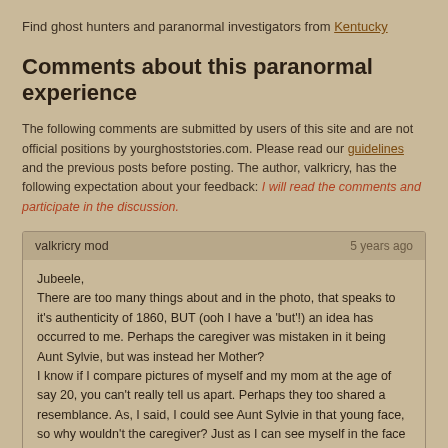Find ghost hunters and paranormal investigators from Kentucky
Comments about this paranormal experience
The following comments are submitted by users of this site and are not official positions by yourghoststories.com. Please read our guidelines and the previous posts before posting. The author, valkricry, has the following expectation about your feedback: I will read the comments and participate in the discussion.
valkricry mod
5 years ago

Jubeele,
There are too many things about and in the photo, that speaks to it's authenticity of 1860, BUT (ooh I have a 'but'!) an idea has occurred to me. Perhaps the caregiver was mistaken in it being Aunt Sylvie, but was instead her Mother?
I know if I compare pictures of myself and my mom at the age of say 20, you can't really tell us apart. Perhaps they too shared a resemblance. As, I said, I could see Aunt Sylvie in that young face, so why wouldn't the caregiver? Just as I can see myself in the face of my Mother.
It's a mystery for sure.